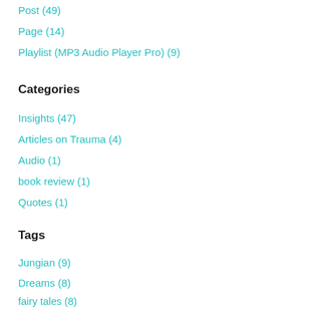Post (49)
Page (14)
Playlist (MP3 Audio Player Pro)  (9)
Categories
Insights (47)
Articles on Trauma (4)
Audio (1)
book review (1)
Quotes (1)
Tags
Jungian (9)
Dreams (8)
fairy tales (8)
Marion Woodman (8)
Marie Louise Von Franz (7)